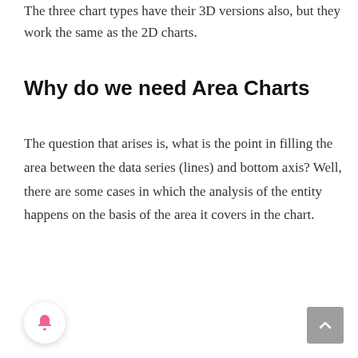The three chart types have their 3D versions also, but they work the same as the 2D charts.
Why do we need Area Charts
The question that arises is, what is the point in filling the area between the data series (lines) and bottom axis? Well, there are some cases in which the analysis of the entity happens on the basis of the area it covers in the chart.